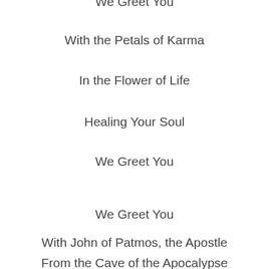With the Petals of Karma
In the Flower of Life
Healing Your Soul
We Greet You
We Greet You
With John of Patmos, the Apostle
From the Cave of the Apocalypse